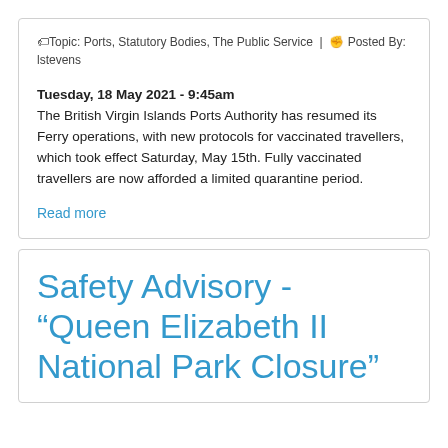🏷Topic: Ports, Statutory Bodies, The Public Service | 🖊 Posted By: lstevens
Tuesday, 18 May 2021 - 9:45am
The British Virgin Islands Ports Authority has resumed its Ferry operations, with new protocols for vaccinated travellers, which took effect Saturday, May 15th. Fully vaccinated travellers are now afforded a limited quarantine period.
Read more
Safety Advisory - "Queen Elizabeth II National Park Closure"